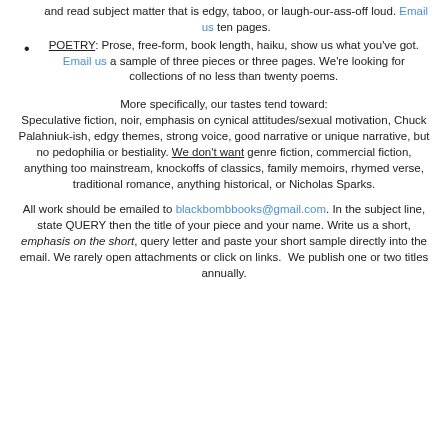and read subject matter that is edgy, taboo, or laugh-our-ass-off loud. Email us ten pages.
POETRY: Prose, free-form, book length, haiku, show us what you've got. Email us a sample of three pieces or three pages. We're looking for collections of no less than twenty poems.
More specifically, our tastes tend toward: Speculative fiction, noir, emphasis on cynical attitudes/sexual motivation, Chuck Palahniuk-ish, edgy themes, strong voice, good narrative or unique narrative, but no pedophilia or bestiality. We don't want genre fiction, commercial fiction, anything too mainstream, knockoffs of classics, family memoirs, rhymed verse, traditional romance, anything historical, or Nicholas Sparks.
All work should be emailed to blackbombbooks@gmail.com. In the subject line, state QUERY then the title of your piece and your name. Write us a short, emphasis on the short, query letter and paste your short sample directly into the email. We rarely open attachments or click on links. We publish one or two titles annually.